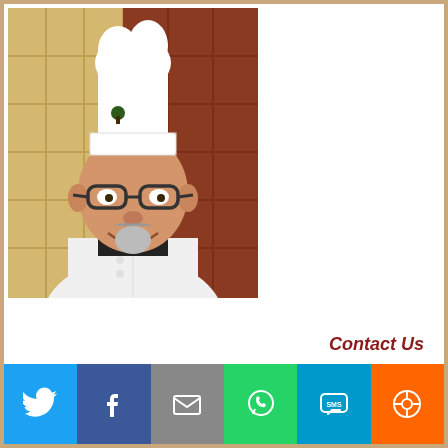[Figure (photo): Chef in white chef's coat and tall white chef hat with a small tree logo, wearing dark-framed glasses, smiling, photographed in front of a brown/tan tiled wall background]
Contact Us
Chef  Director Jose Naboa Sanchez
[Figure (infographic): Social sharing bar with six colored buttons: Twitter (blue bird icon), Facebook (blue f icon), Email (grey envelope icon), WhatsApp (green phone icon), SMS (blue SMS bubble icon), Share (orange circle-arrow icon)]